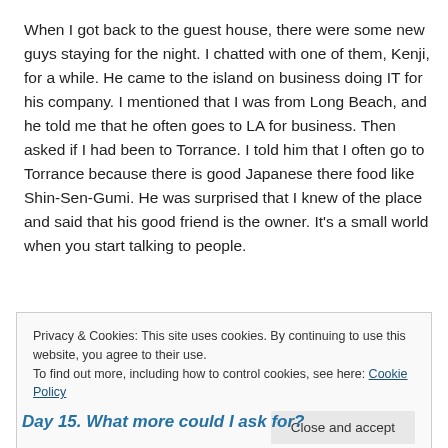When I got back to the guest house, there were some new guys staying for the night. I chatted with one of them, Kenji, for a while. He came to the island on business doing IT for his company. I mentioned that I was from Long Beach, and he told me that he often goes to LA for business. Then asked if I had been to Torrance. I told him that I often go to Torrance because there is good Japanese there food like Shin-Sen-Gumi. He was surprised that I knew of the place and said that his good friend is the owner. It's a small world when you start talking to people.
Privacy & Cookies: This site uses cookies. By continuing to use this website, you agree to their use. To find out more, including how to control cookies, see here: Cookie Policy
Day 15. What more could I ask for?